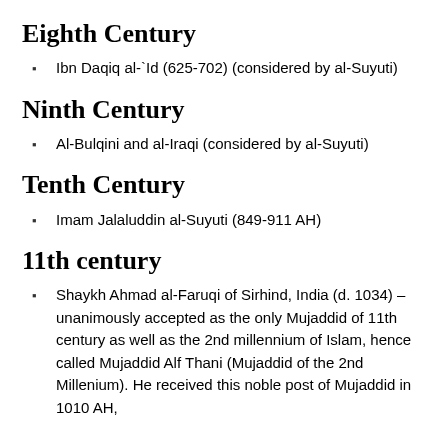Eighth Century
Ibn Daqiq al-`Id (625-702) (considered by al-Suyuti)
Ninth Century
Al-Bulqini and al-Iraqi (considered by al-Suyuti)
Tenth Century
Imam Jalaluddin al-Suyuti (849-911 AH)
11th century
Shaykh Ahmad al-Faruqi of Sirhind, India (d. 1034) – unanimously accepted as the only Mujaddid of 11th century as well as the 2nd millennium of Islam, hence called Mujaddid Alf Thani (Mujaddid of the 2nd Millenium). He received this noble post of Mujaddid in 1010 AH,